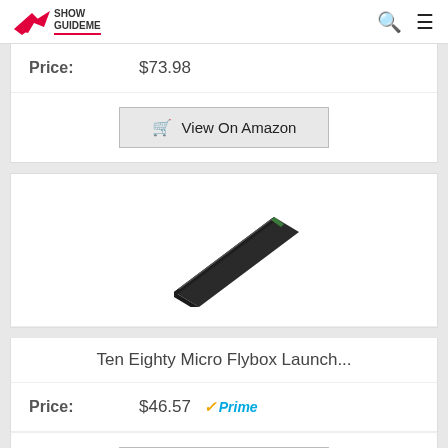ShowGuideMe
Price: $73.98
View On Amazon
[Figure (photo): Product photo of Ten Eighty Micro Flybox Launch ramp, a black wedge-shaped skateboard launch ramp angled to the left]
Ten Eighty Micro Flybox Launch...
Price: $46.57 Prime
View On Amazon